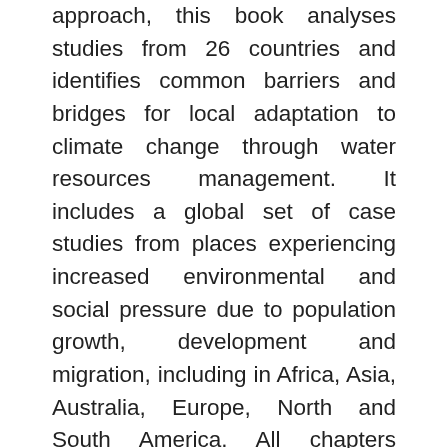approach, this book analyses studies from 26 countries and identifies common barriers and bridges for local adaptation to climate change through water resources management. It includes a global set of case studies from places experiencing increased environmental and social pressure due to population growth, development and migration, including in Africa, Asia, Australia, Europe, North and South America. All chapters consider the crosscutting themes of adaptive capacity, equity, and sustainability. These point to resilient water allocation policies and practices that are capable of protecting social and environmental interests, whilst ensuring the efficient use of an often-scarce resource.